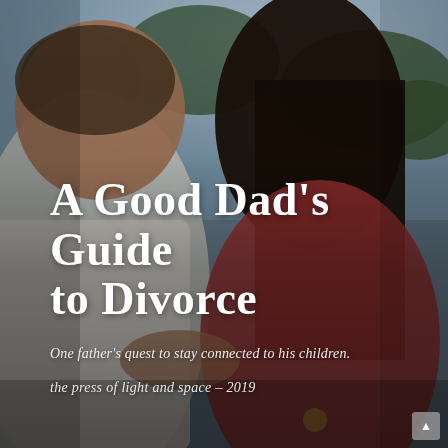[Figure (photo): Background photo of a father and child (daughter) outdoors. The father is on the left wearing a white t-shirt; the daughter is on the right wearing a red/pink outfit, with dark hair. Trees are visible in the background. The image has a dusk/evening color tone.]
A Good Dad's Guide to Divorce
One father's quest to stay connected to his children.
the press of light and space – 2019